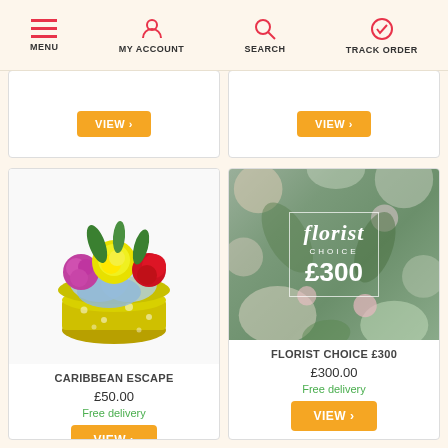MENU | MY ACCOUNT | SEARCH | TRACK ORDER
[Figure (screenshot): Partial product cards from previous scroll position showing VIEW buttons]
[Figure (photo): Caribbean Escape flower arrangement in yellow polka-dot box with mixed flowers]
CARIBBEAN ESCAPE
£50.00
Free delivery
[Figure (photo): Florist Choice £300 product image showing white flowers and greenery with overlaid text box]
FLORIST CHOICE £300
£300.00
Free delivery